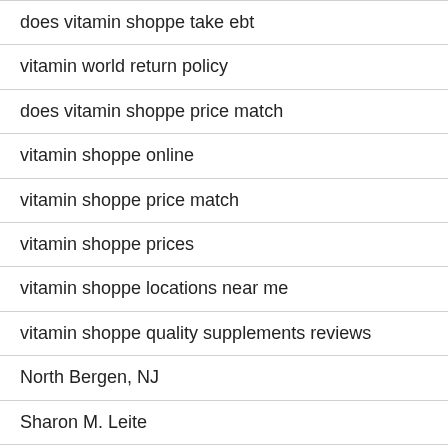does vitamin shoppe take ebt
vitamin world return policy
does vitamin shoppe price match
vitamin shoppe online
vitamin shoppe price match
vitamin shoppe prices
vitamin shoppe locations near me
vitamin shoppe quality supplements reviews
North Bergen, NJ
Sharon M. Leite
Jeffrey Horowitz